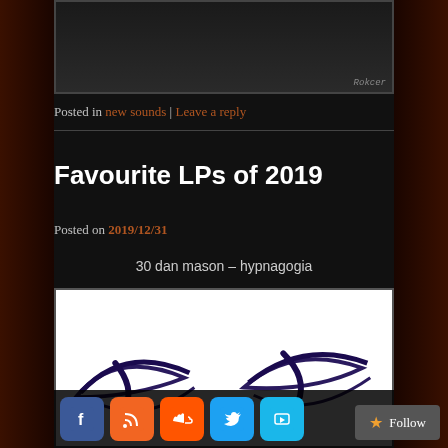[Figure (photo): Top partial image of a person in white clothing, dark background, with small script watermark in bottom right]
Posted in new sounds | Leave a reply
Favourite LPs of 2019
Posted on 2019/12/31
30 dan mason – hypnagogia
[Figure (illustration): Album cover art with white background and dark purple/navy abstract brush stroke illustrations resembling stylized eyes or abstract shapes]
Social icons: Facebook, RSS, SoundCloud, Twitter, Vimeo | Follow button